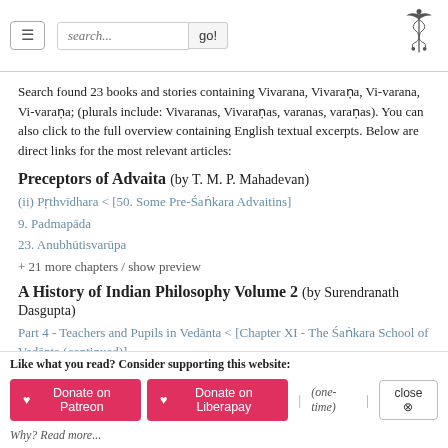Navigation bar with hamburger menu, search box, and caduceus logo
Search found 23 books and stories containing Vivarana, Vivaraṇa, Vi-varana, Vi-varaṇa; (plurals include: Vivaranas, Vivaraṇas, varanas, varaṇas). You can also click to the full overview containing English textual excerpts. Below are direct links for the most relevant articles:
Preceptors of Advaita (by T. M. P. Mahadevan)
(ii) Pṛthvīdhara < [50. Some Pre-Śaṅkara Advaitins]
9. Padmapāda
23. Anubhūtisvarūpa
+ 21 more chapters / show preview
A History of Indian Philosophy Volume 2 (by Surendranath Dasgupta)
Part 4 - Teachers and Pupils in Vedānta < [Chapter XI - The Śaṅkara School of Vedānta (continued)]
Part 26 - Nṛsiṃhāśrama Muni (a.d. 1500) < [Chapter XI - The Śaṅkara School of Vedānta (continued)]
Part 7 - Śaṅkara and his School < [Chapter XI - The Śaṅkara School of Vedānta
Like what you read? Consider supporting this website: ♥ Donate on Patreon  ♥ Donate on Liberapay | (one-time) | close  Why? Read more...